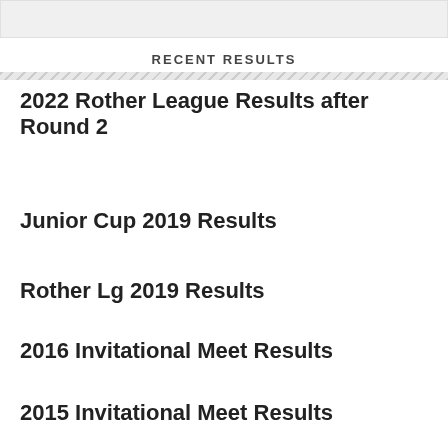RECENT RESULTS
2022 Rother League Results after Round 2
Junior Cup 2019 Results
Rother Lg 2019 Results
2016 Invitational Meet Results
2015 Invitational Meet Results